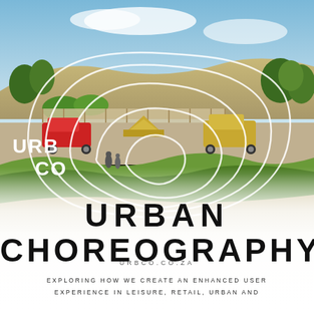[Figure (photo): Aerial/eye-level rendering of a coastal campsite with grass, sand, vehicles (red pickup truck, yellow 4x4), tents, wooden fence, blue sky, and people walking on beach]
[Figure (illustration): White concentric organic/blob-shaped contour lines overlaid on the photo, like topographic contours]
URB CO
URBCO.CO.ZA
URBAN CHOREOGRAPHY
EXPLORING HOW WE CREATE AN ENHANCED USER EXPERIENCE IN LEISURE, RETAIL, URBAN AND